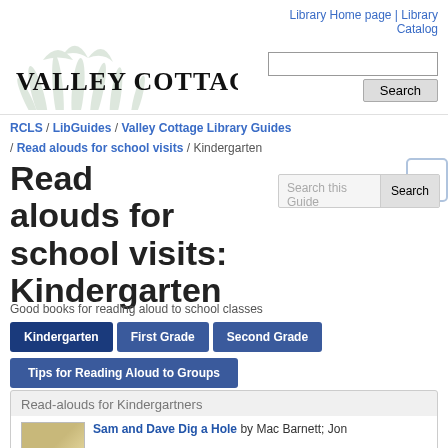Library Home page | Library Catalog
[Figure (logo): Valley Cottage Library logo with green plant/grass watermark and bold serif text]
RCLS / LibGuides / Valley Cottage Library Guides / Read alouds for school visits / Kindergarten
Read alouds for school visits: Kindergarten
Good books for reading aloud to school classes
Kindergarten | First Grade | Second Grade | Tips for Reading Aloud to Groups
Read-alouds for Kindergartners
Sam and Dave Dig a Hole by Mac Barnett; Jon